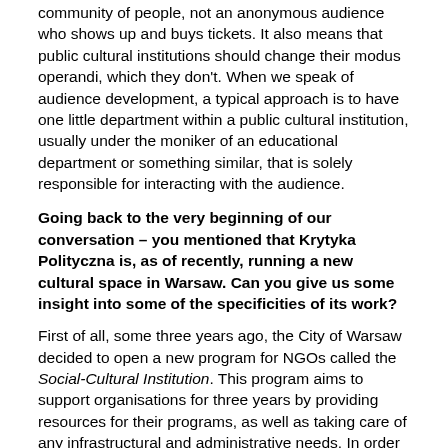community of people, not an anonymous audience who shows up and buys tickets. It also means that public cultural institutions should change their modus operandi, which they don't. When we speak of audience development, a typical approach is to have one little department within a public cultural institution, usually under the moniker of an educational department or something similar, that is solely responsible for interacting with the audience.
Going back to the very beginning of our conversation – you mentioned that Krytyka Polityczna is, as of recently, running a new cultural space in Warsaw. Can you give us some insight into some of the specificities of its work?
First of all, some three years ago, the City of Warsaw decided to open a new program for NGOs called the Social-Cultural Institution. This program aims to support organisations for three years by providing resources for their programs, as well as taking care of any infrastructural and administrative needs. In order to experiment with that, we immediately created a consortium of five organisations and opened the Jasn10 sociocultural centre, which we have been operating in the heart of Warsaw on Jasna Street for the past two years. The majority of those